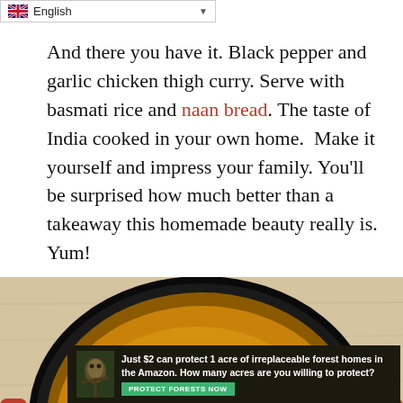English
And there you have it. Black pepper and garlic chicken thigh curry. Serve with basmati rice and naan bread. The taste of India cooked in your own home.  Make it yourself and impress your family. You’ll be surprised how much better than a takeaway this homemade beauty really is. Yum!
[Figure (photo): Overhead view of a black and red cast iron pot filled with chicken curry in a golden-brown sauce, garnished with fresh green herbs (cilantro), sitting on a light wooden surface.]
Just $2 can protect 1 acre of irreplaceable forest homes in the Amazon. How many acres are you willing to protect? PROTECT FORESTS NOW